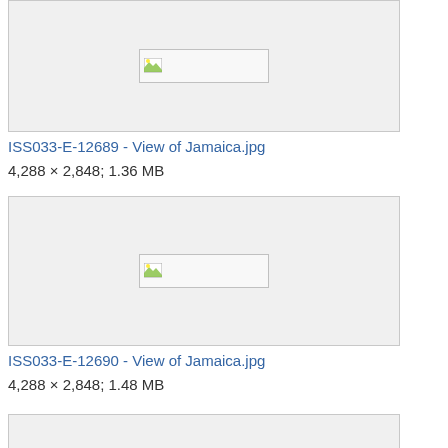[Figure (photo): Image placeholder box for ISS033-E-12689, showing broken image icon in grey box]
ISS033-E-12689 - View of Jamaica.jpg
4,288 × 2,848; 1.36 MB
[Figure (photo): Image placeholder box for ISS033-E-12690, showing broken image icon in grey box]
ISS033-E-12690 - View of Jamaica.jpg
4,288 × 2,848; 1.48 MB
[Figure (photo): Partial image placeholder box at bottom of page]